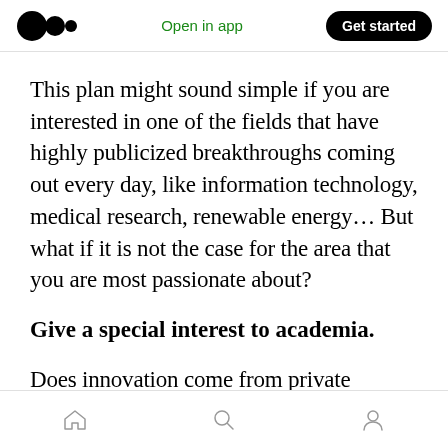Medium logo | Open in app | Get started
This plan might sound simple if you are interested in one of the fields that have highly publicized breakthroughs coming out every day, like information technology, medical research, renewable energy… But what if it is not the case for the area that you are most passionate about?
Give a special interest to academia.
Does innovation come from private companies or universities and other public research centers?
Home | Search | Profile